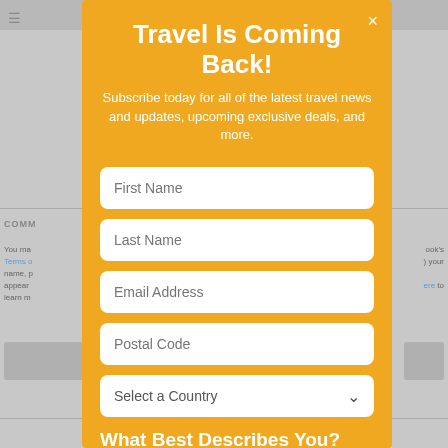[Figure (screenshot): Background website page partially visible behind modal, showing comments section and body text with links]
Travel Is Coming Back!
Subscribe today for all of the latest travel news and updates, upcoming exclusive deals, and more.
First Name
Last Name
Email Address
Postal Code
Select a Country
What Best Describes You?
Travel Agent
Travel Supplier
Traveler